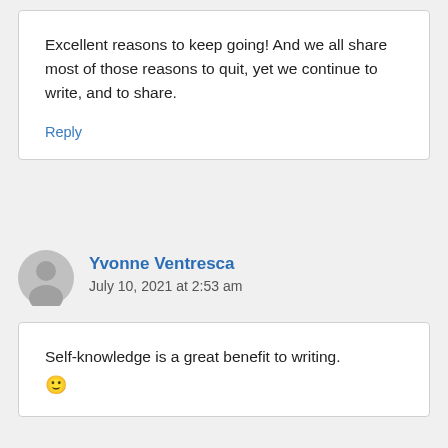Excellent reasons to keep going! And we all share most of those reasons to quit, yet we continue to write, and to share.
Reply
Yvonne Ventresca
July 10, 2021 at 2:53 am
Self-knowledge is a great benefit to writing. 🙂